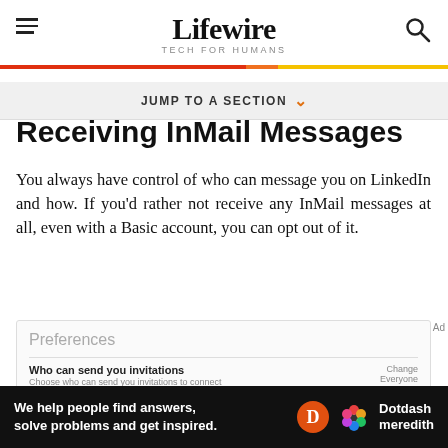Lifewire TECH FOR HUMANS
JUMP TO A SECTION
Receiving InMail Messages
You always have control of who can message you on LinkedIn and how. If you'd rather not receive any InMail messages at all, even with a Basic account, you can opt out of it.
[Figure (screenshot): LinkedIn Preferences panel showing 'Who can send you invitations' and 'Messages from members and partners' rows with Change/Everyone and Close options]
[Figure (logo): Dotdash Meredith advertisement banner with text: We help people find answers, solve problems and get inspired.]